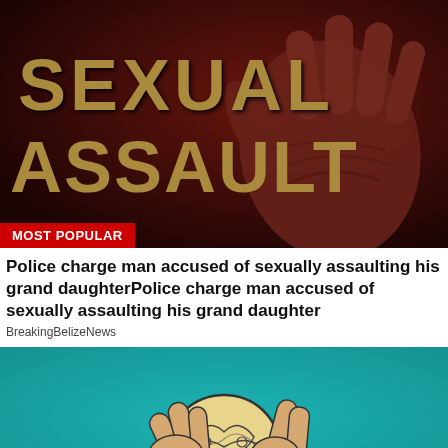[Figure (photo): Dark red/maroon toned image with large distressed text reading SEXUAL ASSAULT and an outstretched hand in the background. A red badge in the lower left reads MOST POPULAR.]
Police charge man accused of sexually assaulting his grand daughterPolice charge man accused of sexually assaulting his grand daughter
BreakingBelizeNews
[Figure (illustration): Teal/turquoise background with a cartoon illustration of hands manipulating or assembling a patterned circular object, suggesting a puzzle or brain concept.]